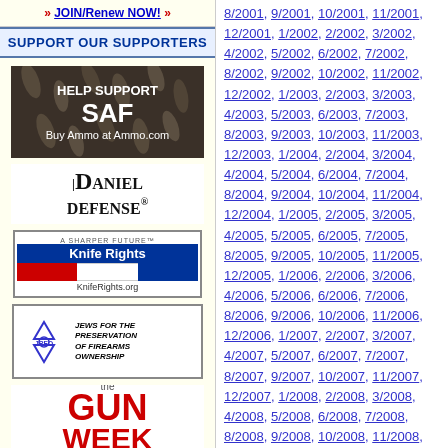» JOIN/Renew NOW! »
SUPPORT OUR SUPPORTERS
[Figure (illustration): HELP SUPPORT SAF - Buy Ammo at Ammo.com advertisement with bullet background]
[Figure (logo): Daniel Defense logo]
[Figure (logo): A Sharper Future - Knife Rights - KnifeRights.org advertisement]
[Figure (logo): Jews for the Preservation of Firearms Ownership advertisement with star of david logo]
[Figure (logo): The Gun Week logo in red text]
8/2001, 9/2001, 10/2001, 11/2001, 12/2001, 1/2002, 2/2002, 3/2002, 4/2002, 5/2002, 6/2002, 7/2002, 8/2002, 9/2002, 10/2002, 11/2002, 12/2002, 1/2003, 2/2003, 3/2003, 4/2003, 5/2003, 6/2003, 7/2003, 8/2003, 9/2003, 10/2003, 11/2003, 12/2003, 1/2004, 2/2004, 3/2004, 4/2004, 5/2004, 6/2004, 7/2004, 8/2004, 9/2004, 10/2004, 11/2004, 12/2004, 1/2005, 2/2005, 3/2005, 4/2005, 5/2005, 6/2005, 7/2005, 8/2005, 9/2005, 10/2005, 11/2005, 12/2005, 1/2006, 2/2006, 3/2006, 4/2006, 5/2006, 6/2006, 7/2006, 8/2006, 9/2006, 10/2006, 11/2006, 12/2006, 1/2007, 2/2007, 3/2007, 4/2007, 5/2007, 6/2007, 7/2007, 8/2007, 9/2007, 10/2007, 11/2007, 12/2007, 1/2008, 2/2008, 3/2008, 4/2008, 5/2008, 6/2008, 7/2008, 8/2008, 9/2008, 10/2008, 11/2008, 12/2008, 1/2009, 2/2009, 3/2009, 4/2009, 5/2009, 6/2009, 7/2009, 8/2009, 9/2009, 10/2009, 11/2009, 12/2009, 1/2010, 2/2010, 3/2010, 4/2010, 5/2010, 6/2010, 7/2010, 8/2010, 9/2010, 10/2010, 11/2010